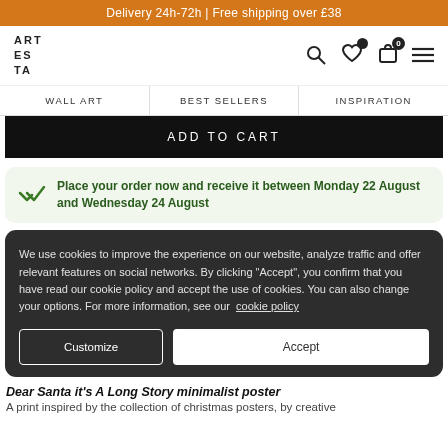Delivery 24h-72h | Free shipping over £38
[Figure (logo): ARTESTA logo text in block letters]
ADD TO CART
Place your order now and receive it between Monday 22 August and Wednesday 24 August
We use cookies to improve the experience on our website, analyze traffic and offer relevant features on social networks. By clicking "Accept", you confirm that you have read our cookie policy and accept the use of cookies. You can also change your options. For more information, see our cookie policy
Customize
Accept
Dear Santa it's A Long Story minimalist poster
A print inspired by the collection of christmas posters, by creative